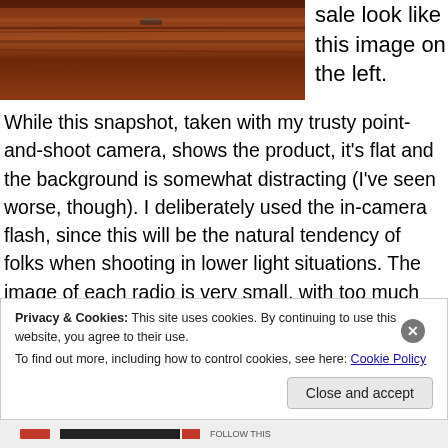[Figure (photo): Close-up photo of a wooden surface with reddish-brown wood grain, showing furniture detail]
sale look like this image on the left.
While this snapshot, taken with my trusty point-and-shoot camera, shows the product, it's flat and the background is somewhat distracting (I've seen worse, though). I deliberately used the in-camera flash, since this will be the natural tendency of folks when shooting in lower light situations. The image of each radio is very small, with too much space around the objects. The radios get "lost" in
Privacy & Cookies: This site uses cookies. By continuing to use this website, you agree to their use.
To find out more, including how to control cookies, see here: Cookie Policy
Close and accept